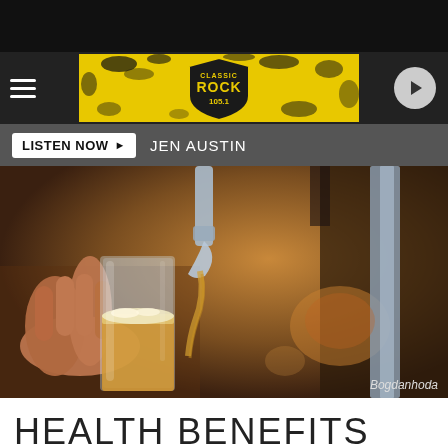[Figure (screenshot): Classic Rock 105.1 radio station website header with yellow and black grunge-style banner, hamburger menu icon, station logo, and play button]
LISTEN NOW ▶  JEN AUSTIN
[Figure (photo): Close-up photo of a person filling a glass with draft beer from a tap handle, with bokeh background of bar equipment. Credit: Bogdanhoda]
HEALTH BENEFITS OF BEER